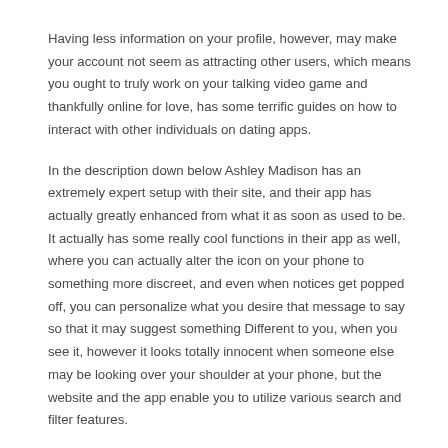Having less information on your profile, however, may make your account not seem as attracting other users, which means you ought to truly work on your talking video game and thankfully online for love, has some terrific guides on how to interact with other individuals on dating apps.
In the description down below Ashley Madison has an extremely expert setup with their site, and their app has actually greatly enhanced from what it as soon as used to be. It actually has some really cool functions in their app as well, where you can actually alter the icon on your phone to something more discreet, and even when notices get popped off, you can personalize what you desire that message to say so that it may suggest something Different to you, when you see it, however it looks totally innocent when someone else may be looking over your shoulder at your phone, but the website and the app enable you to utilize various search and filter features.